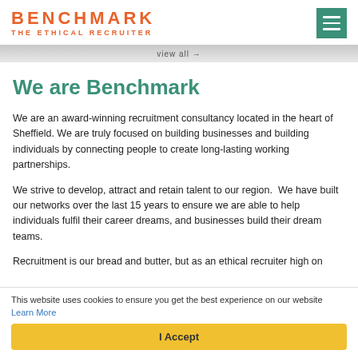BENCHMARK THE ETHICAL RECRUITER
We are Benchmark
We are an award-winning recruitment consultancy located in the heart of Sheffield. We are truly focused on building businesses and building individuals by connecting people to create long-lasting working partnerships.
We strive to develop, attract and retain talent to our region.  We have built our networks over the last 15 years to ensure we are able to help individuals fulfil their career dreams, and businesses build their dream teams.
Recruitment is our bread and butter, but as an ethical recruiter high on
This website uses cookies to ensure you get the best experience on our website Learn More
I Accept